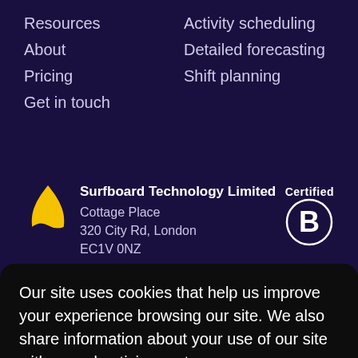Resources
Activity scheduling
About
Detailed forecasting
Pricing
Shift planning
Get in touch
[Figure (logo): Surfboard Technology Limited yellow flame/surfboard logo]
Surfboard Technology Limited
Cottage Place
320 City Rd, London
EC1V 0NZ
[Figure (logo): Certified B Corporation badge circle with B]
Our site uses cookies that help us improve your experience browsing our site. We also share information about your use of our site with our advertising partners.
Dismiss for now
Accept Cookies